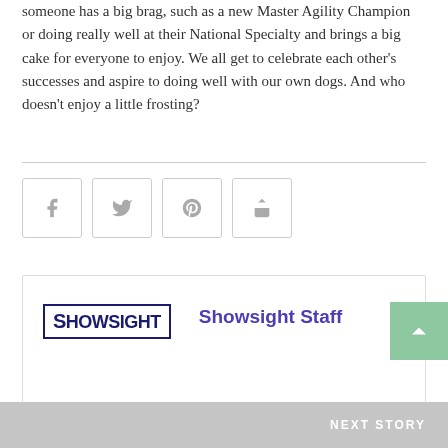someone has a big brag, such as a new Master Agility Champion or doing really well at their National Specialty and brings a big cake for everyone to enjoy. We all get to celebrate each other's successes and aspire to doing well with our own dogs. And who doesn't enjoy a little frosting?
[Figure (infographic): Social sharing buttons: Facebook (f), Twitter (bird icon), Pinterest (p), Share (arrow icon)]
[Figure (logo): Showsight magazine logo with author name 'Showsight Staff' in purple]
NEXT STORY